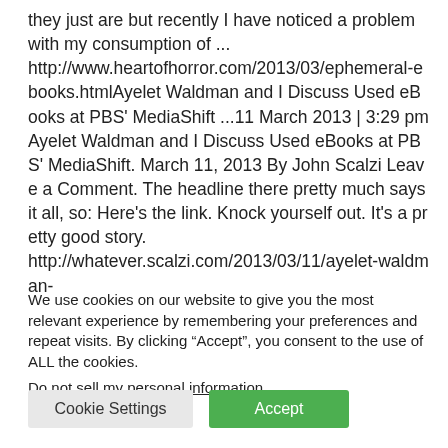they just are but recently I have noticed a problem with my consumption of ... http://www.heartofhorror.com/2013/03/ephemeral-ebooks.htmlAyelet Waldman and I Discuss Used eBooks at PBS' MediaShift ...11 March 2013 | 3:29 pm Ayelet Waldman and I Discuss Used eBooks at PBS' MediaShift. March 11, 2013 By John Scalzi Leave a Comment. The headline there pretty much says it all, so: Here's the link. Knock yourself out. It's a pretty good story. http://whatever.scalzi.com/2013/03/11/ayelet-waldman-
We use cookies on our website to give you the most relevant experience by remembering your preferences and repeat visits. By clicking “Accept”, you consent to the use of ALL the cookies.
Do not sell my personal information.
Cookie Settings   Accept